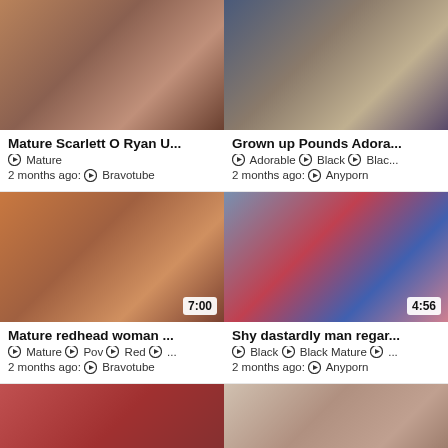[Figure (photo): Thumbnail for mature video featuring redhead woman]
Mature Scarlett O Ryan U...
Mature
2 months ago: Bravotube
[Figure (photo): Thumbnail for grown up video featuring young brunette woman and older man in suit]
Grown up Pounds Adora...
Adorable Black Blac...
2 months ago: Anyporn
[Figure (photo): Thumbnail for mature redhead woman video, duration 7:00]
Mature redhead woman ...
Mature Pov Red ...
2 months ago: Bravotube
[Figure (photo): Thumbnail for shy man video, duration 4:56]
Shy dastardly man regar...
Black Black Mature ...
2 months ago: Anyporn
[Figure (photo): Thumbnail for video, duration 27:13]
[Figure (photo): Thumbnail for video, duration 12:31]